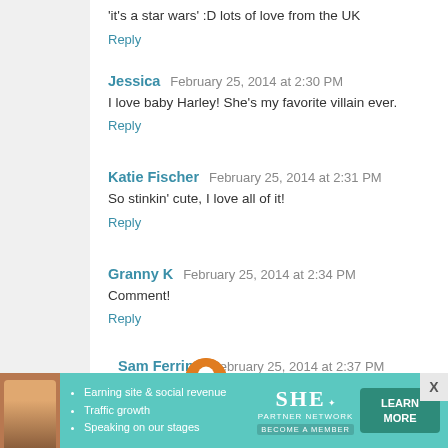'it's a star wars' :D lots of love from the UK
Reply
Jessica  February 25, 2014 at 2:30 PM
I love baby Harley! She's my favorite villain ever.
Reply
Katie Fischer  February 25, 2014 at 2:31 PM
So stinkin' cute, I love all of it!
Reply
Granny K  February 25, 2014 at 2:34 PM
Comment!
Reply
Sam Ferrins  February 25, 2014 at 2:37 PM
[Figure (infographic): SHE Partner Network advertisement banner with woman photo, bullet points about earning site & social revenue, traffic growth, speaking on our stages, SHE logo, and LEARN MORE button]